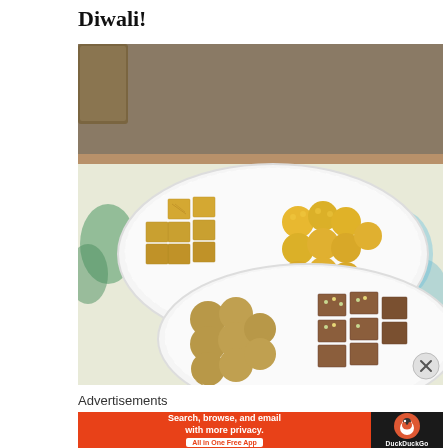Diwali!
[Figure (photo): Photo of Indian sweets (mithai) arranged on two white oval plates on a floral tablecloth. The top plate contains golden soan papdi squares and motichoor laddoo balls. The bottom plate has besan laddoo balls and barfi/chikki squares topped with nuts and seeds.]
Advertisements
[Figure (screenshot): DuckDuckGo advertisement banner with orange background on the left reading 'Search, browse, and email with more privacy. All in One Free App' and dark background on the right with the DuckDuckGo duck logo and 'DuckDuckGo' text.]